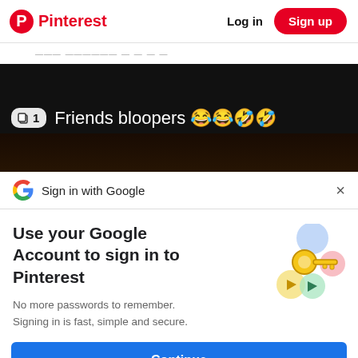Pinterest  Log in  Sign up
Friends bloopers 😂😂🤣🤣
[Figure (screenshot): Video thumbnail showing dark background with text 'Friends bloopers 😂😂🤣🤣' and a copy/duplicate icon badge showing number 1]
G  Sign in with Google  ×
Use your Google Account to sign in to Pinterest
No more passwords to remember. Signing in is fast, simple and secure.
[Figure (illustration): Google key illustration with colorful circles/shapes representing Google account sign-in security]
Continue